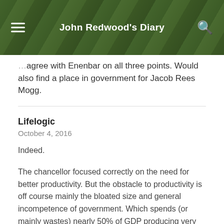John Redwood's Diary
…agree with Enenbar on all three points. Would also find a place in government for Jacob Rees Mogg.
Lifelogic
October 4, 2016
Indeed.
The chancellor focused correctly on the need for better productivity. But the obstacle to productivity is off course mainly the bloated size and general incompetence of government. Which spends (or mainly wastes) nearly 50% of GDP producing very little or any value. Through daft regulations and over complex taxes it also wastes much time in the private sector…